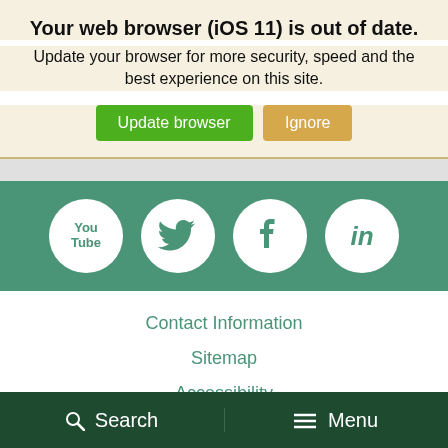Your web browser (iOS 11) is out of date.
Update your browser for more security, speed and the best experience on this site.
[Figure (screenshot): Browser update banner with two buttons: green 'Update browser' and tan 'Ignore']
[Figure (infographic): Social media icons row: YouTube, Twitter, Facebook, LinkedIn — white circles on teal background]
Contact Information
Sitemap
Accessibility
Privacy
Disclaimer
Search   Menu